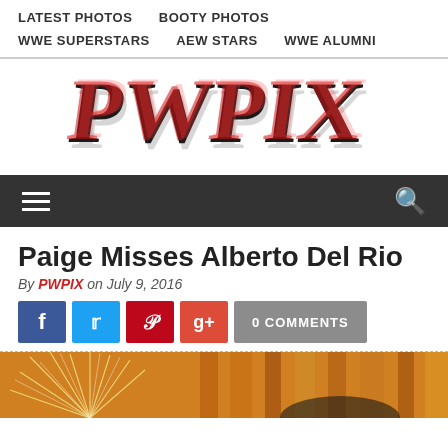LATEST PHOTOS | BOOTY PHOTOS | WWE SUPERSTARS | AEW STARS | WWE ALUMNI
[Figure (logo): PWPIX logo in stylized black and red grunge lettering]
[Figure (infographic): Dark navigation bar with hamburger menu icon on left and search icon on right]
Paige Misses Alberto Del Rio
By PWPIX on July 9, 2016
[Figure (infographic): Social share buttons: Facebook, Twitter, Pinterest, Google+, and 0 COMMENTS button]
[Figure (photo): Photo of people with fireworks and orange wooden background]